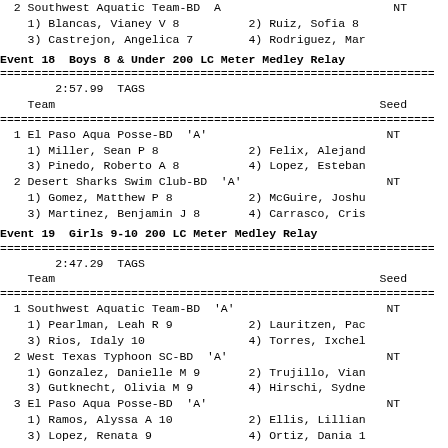2 Southwest Aquatic Team-BD  A                              NT
1) Blancas, Vianey V 8          2) Ruiz, Sofia 8
3) Castrejon, Angelica 7        4) Rodriguez, Mar
Event 18  Boys 8 & Under 200 LC Meter Medley Relay
2:57.99  TAGS
Team                                                    Seed
1 El Paso Aqua Posse-BD  'A'                              NT
1) Miller, Sean P 8             2) Felix, Alejand
3) Pinedo, Roberto A 8          4) Lopez, Esteban
2 Desert Sharks Swim Club-BD  'A'                         NT
1) Gomez, Matthew P 8           2) McGuire, Joshu
3) Martinez, Benjamin J 8       4) Carrasco, Cris
Event 19  Girls 9-10 200 LC Meter Medley Relay
2:47.29  TAGS
Team                                                    Seed
1 Southwest Aquatic Team-BD  'A'                          NT
1) Pearlman, Leah R 9           2) Lauritzen, Pac
3) Rios, Idaly 10               4) Torres, Ixchel
2 West Texas Typhoon SC-BD  'A'                           NT
1) Gonzalez, Danielle M 9       2) Trujillo, Vian
3) Gutknecht, Olivia M 9        4) Hirschi, Sydne
3 El Paso Aqua Posse-BD  'A'                              NT
1) Ramos, Alyssa A 10           2) Ellis, Lillian
3) Lopez, Renata 9              4) Ortiz, Dania 1